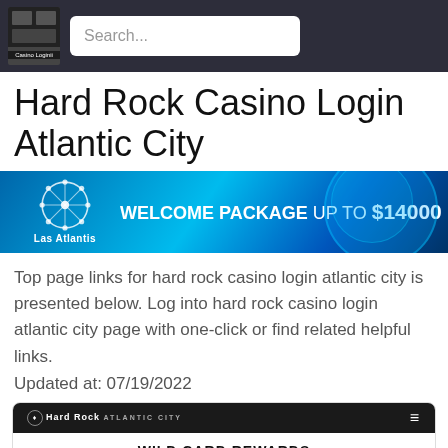Casino Loginii | Search...
Hard Rock Casino Login Atlantic City
[Figure (screenshot): Las Atlantis casino banner: WELCOME PACKAGE UP TO $14000]
Top page links for hard rock casino login atlantic city is presented below. Log into hard rock casino login atlantic city page with one-click or find related helpful links.
Updated at: 07/19/2022
[Figure (screenshot): Hard Rock Atlantic City Wild Card Rewards login page screenshot showing WILD CARD REWARDS heading, LOG IN & SAVE and ALREADY HAVE A WILD CARD ACCOUNT? links]